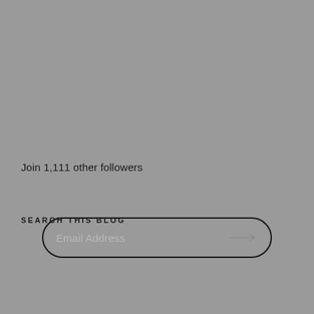[Figure (screenshot): Email address input field with rounded border and arrow icon on the right]
Join 1,111 other followers
SEARCH THIS BLOG
[Figure (screenshot): Search input field with rounded border, 'Enter keywords' placeholder and Search button on the right]